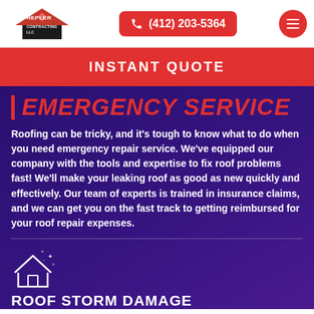[Figure (logo): Hepler Contracting LLC logo with red house/roof icon and bold text]
(412) 203-5364
INSTANT QUOTE
EMERGENCY SERVICE
Roofing can be tricky, and it's tough to know what to do when you need emergency repair service. We've equipped our company with the tools and expertise to fix roof problems fast! We'll make your leaking roof as good as new quickly and effectively. Our team of experts is trained in insurance claims, and we can get you on the fast track to getting reimbursed for your roof repair expenses.
[Figure (illustration): White outline icon of a house with sparkle/snowflake effects around it]
ROOF STORM DAMAGE